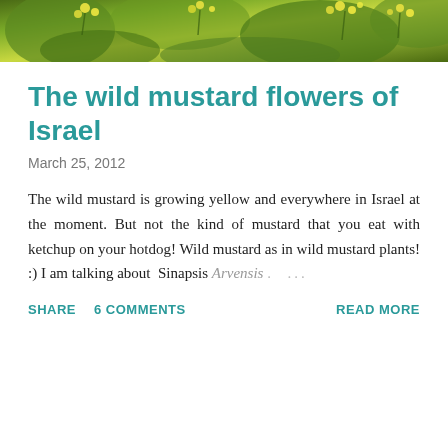[Figure (photo): Top banner photo of yellow wild mustard flowers and green foliage]
The wild mustard flowers of Israel
March 25, 2012
The wild mustard is growing yellow and everywhere in Israel at the moment. But not the kind of mustard that you eat with ketchup on your hotdog! Wild mustard as in wild mustard plants! :) I am talking about Sinapsis Arvensis . ...
SHARE   6 COMMENTS   READ MORE